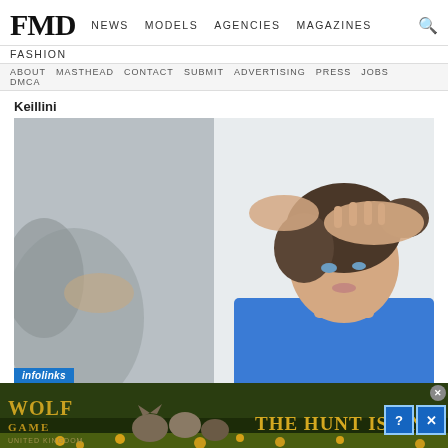FMD  NEWS  MODELS  AGENCIES  MAGAZINES  FASHION
ABOUT  MASTHEAD  CONTACT  SUBMIT  ADVERTISING  PRESS  JOBS  DMCA
Keillini
[Figure (photo): A young woman in a blue top styling her hair into an updo, looking into a mirror; another person's hands visible in the blurred foreground.]
infolinks
[Figure (infographic): Wolf Game United Kingdom advertisement banner showing wolves and cats in a field with golden flowers. Text reads: WOLF GAME UNITED KINGDOM — THE HUNT IS ON!]